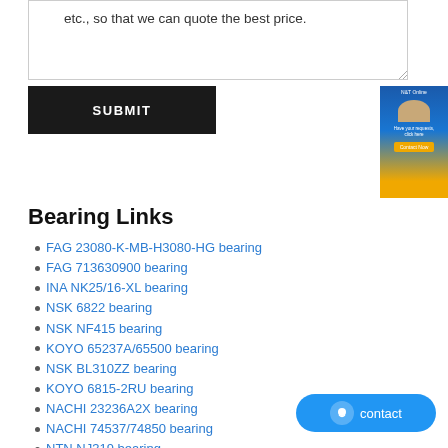etc., so that we can quote the best price.
SUBMIT
[Figure (other): Customer service banner with headset operator image and contact button]
Bearing Links
FAG 23080-K-MB-H3080-HG bearing
FAG 713630900 bearing
INA NK25/16-XL bearing
NSK 6822 bearing
NSK NF415 bearing
KOYO 65237A/65500 bearing
NSK BL310ZZ bearing
KOYO 6815-2RU bearing
NACHI 23236A2X bearing
NACHI 74537/74850 bearing
NTN NJ319 bearing
NTN BNT003 bearing
NTN NU2307 bearing
TIMKEN EE291201/291751CD-X1S-291201 bearing
[Figure (other): Blue contact button with chat icon]